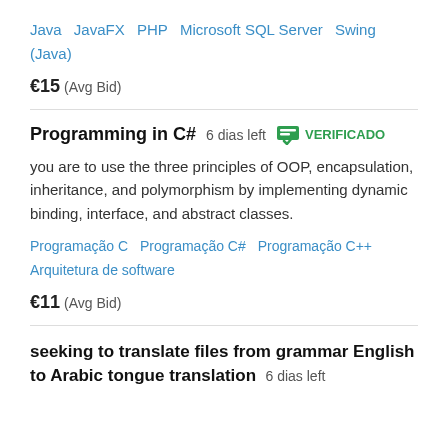Java   JavaFX   PHP   Microsoft SQL Server   Swing (Java)
€15  (Avg Bid)
Programming in C#   6 dias left   VERIFICADO
you are to use the three principles of OOP, encapsulation, inheritance, and polymorphism by implementing dynamic binding, interface, and abstract classes.
Programação C   Programação C#   Programação C++   Arquitetura de software
€11  (Avg Bid)
seeking to translate files from grammar English to Arabic tongue translation   6 dias left